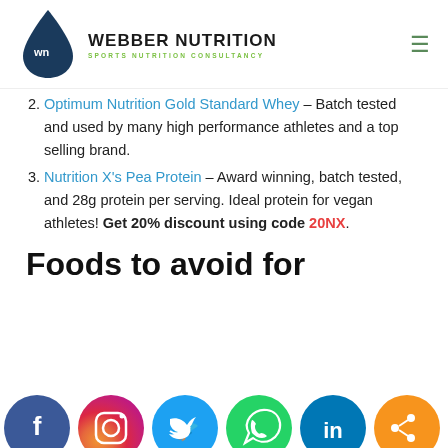WEBBER NUTRITION — SPORTS NUTRITION CONSULTANCY
Optimum Nutrition Gold Standard Whey – Batch tested and used by many high performance athletes and a top selling brand.
Nutrition X's Pea Protein – Award winning, batch tested, and 28g protein per serving. Ideal protein for vegan athletes! Get 20% discount using code 20NX.
Foods to avoid for
[Figure (other): Social media sharing bar with Facebook, Instagram, Twitter, WhatsApp, LinkedIn, and Share buttons]